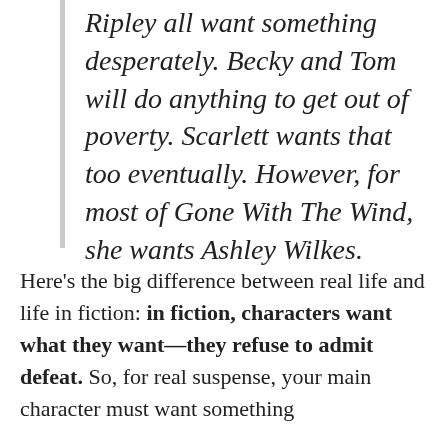Ripley all want something desperately. Becky and Tom will do anything to get out of poverty. Scarlett wants that too eventually. However, for most of Gone With The Wind, she wants Ashley Wilkes.
Here's the big difference between real life and life in fiction: in fiction, characters want what they want—they refuse to admit defeat. So, for real suspense, your main character must want something